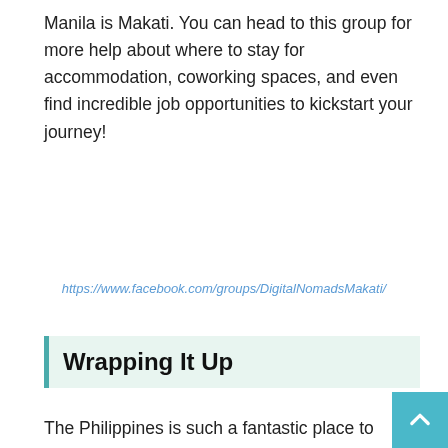Manila is Makati. You can head to this group for more help about where to stay for accommodation, coworking spaces, and even find incredible job opportunities to kickstart your journey!
https://www.facebook.com/groups/DigitalNomadsMakati/
Wrapping It Up
The Philippines is such a fantastic place to visit, as long a…